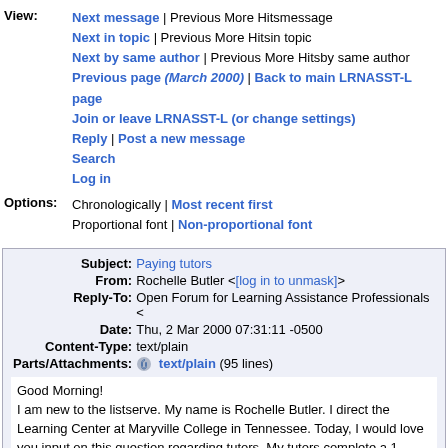View: Next message | Previous More Hitsmessage
Next in topic | Previous More Hitsin topic
Next by same author | Previous More Hitsby same author
Previous page (March 2000) | Back to main LRNASST-L page
Join or leave LRNASST-L (or change settings)
Reply | Post a new message
Search
Log in
Options: Chronologically | Most recent first
Proportional font | Non-proportional font
| Field | Value |
| --- | --- |
| Subject: | Paying tutors |
| From: | Rochelle Butler <[log in to unmask]> |
| Reply-To: | Open Forum for Learning Assistance Professionals < |
| Date: | Thu, 2 Mar 2000 07:31:11 -0500 |
| Content-Type: | text/plain |
| Parts/Attachments: | text/plain (95 lines) |
Good Morning!
I am new to the listserve. My name is Rochelle Butler. I direct the Learning Center at Maryville College in Tennessee. Today, I would love your input on this question regarding tutors. My tutors complete a 1 credit hour class when they start tutoring. Any semester after taking the class, they can still tutor for my office and I pay them for their time. This year, someone at our institution did not closely monitor the federal work study vs. institutional work study. Therefore we are out of institutional work study. The work study office is proposing that only people who are on